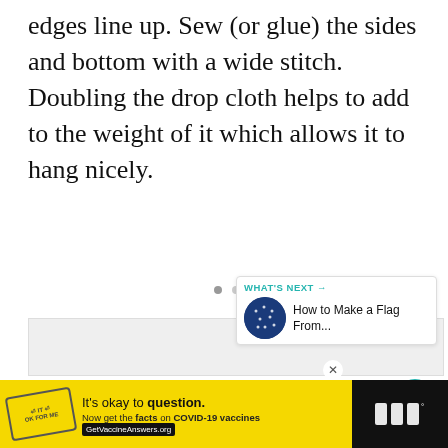edges line up. Sew (or glue) the sides and bottom with a wide stitch. Doubling the drop cloth helps to add to the weight of it which allows it to hang nicely.
[Figure (photo): Light grey image area placeholder with media controls and overlay UI elements including a heart/like button (teal), share button, count of 1, and a 'What's Next' card showing 'How to Make a Flag From...' with a dark blue circular thumbnail.]
WHAT'S NEXT → How to Make a Flag From...
It's okay to question. Now get the facts on COVID-19 vaccines GetVaccineAnswers.org